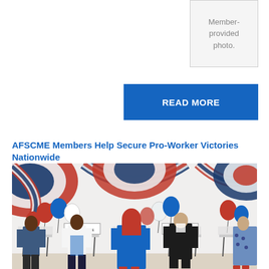[Figure (photo): Member-provided photo placeholder box with gray border]
READ MORE
AFSCME Members Help Secure Pro-Worker Victories Nationwide
[Figure (photo): Photo of five people standing at polling place voting booths, viewed from behind. Red, white, and blue bunting and balloons decorate the wall in the background. Two POLLING PLACE signs are visible.]